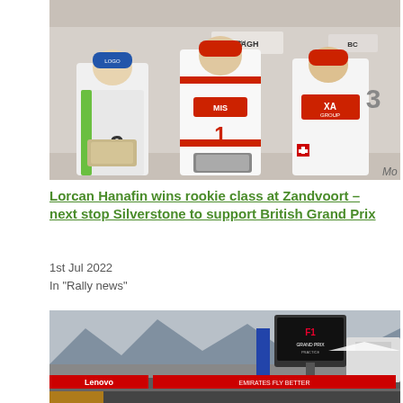[Figure (photo): Three young racing drivers in motorsport suits standing on a podium, holding trophies. Left driver wears white/green suit with number 2, center driver wears red/white suit with number 1, right driver wears red/white suit with number 3.]
Lorcan Hanafin wins rookie class at Zandvoort – next stop Silverstone to support British Grand Prix
1st Jul 2022
In "Rally news"
[Figure (photo): Formula 1 race circuit scene showing a large LED display screen with the F1 logo, pit lane area with Lenovo and other sponsor banners, mountains visible in background.]